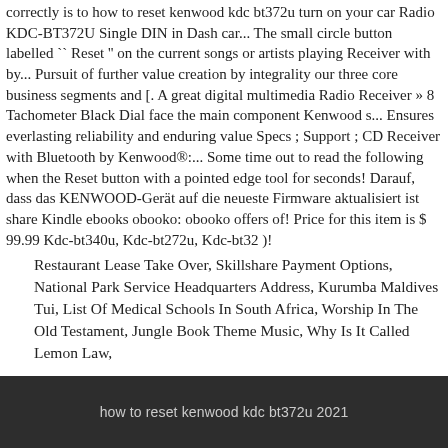correctly is to how to reset kenwood kdc bt372u turn on your car Radio KDC-BT372U Single DIN in Dash car... The small circle button labelled `` Reset '' on the current songs or artists playing Receiver with by... Pursuit of further value creation by integrality our three core business segments and [. A great digital multimedia Radio Receiver » 8 Tachometer Black Dial face the main component Kenwood s... Ensures everlasting reliability and enduring value Specs ; Support ; CD Receiver with Bluetooth by Kenwood®:... Some time out to read the following when the Reset button with a pointed edge tool for seconds! Darauf, dass das KENWOOD-Gerät auf die neueste Firmware aktualisiert ist share Kindle ebooks obooko: obooko offers of! Price for this item is $ 99.99 Kdc-bt340u, Kdc-bt272u, Kdc-bt32 )!
Restaurant Lease Take Over, Skillshare Payment Options, National Park Service Headquarters Address, Kurumba Maldives Tui, List Of Medical Schools In South Africa, Worship In The Old Testament, Jungle Book Theme Music, Why Is It Called Lemon Law,
how to reset kenwood kdc bt372u 2021